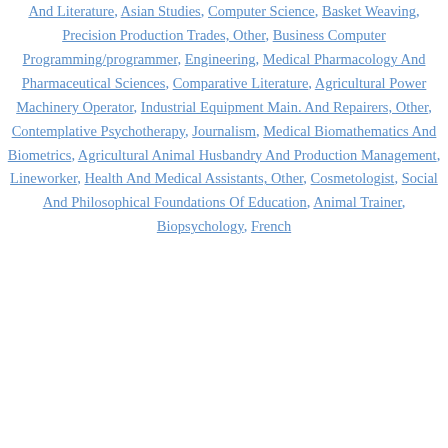And Literature, Asian Studies, Computer Science, Basket Weaving, Precision Production Trades, Other, Business Computer Programming/programmer, Engineering, Medical Pharmacology And Pharmaceutical Sciences, Comparative Literature, Agricultural Power Machinery Operator, Industrial Equipment Main. And Repairers, Other, Contemplative Psychotherapy, Journalism, Medical Biomathematics And Biometrics, Agricultural Animal Husbandry And Production Management, Lineworker, Health And Medical Assistants, Other, Cosmetologist, Social And Philosophical Foundations Of Education, Animal Trainer, Biopsychology, French